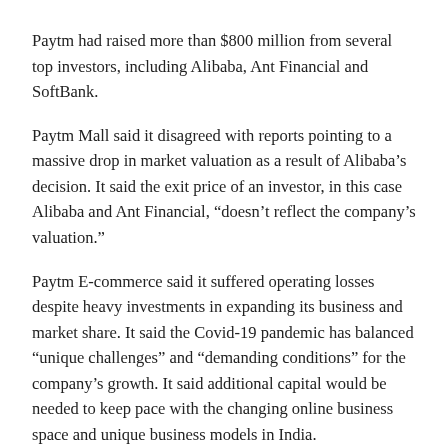Paytm had raised more than $800 million from several top investors, including Alibaba, Ant Financial and SoftBank.
Paytm Mall said it disagreed with reports pointing to a massive drop in market valuation as a result of Alibaba’s decision. It said the exit price of an investor, in this case Alibaba and Ant Financial, “doesn’t reflect the company’s valuation.”
Paytm E-commerce said it suffered operating losses despite heavy investments in expanding its business and market share. It said the Covid-19 pandemic has balanced “unique challenges” and “demanding conditions” for the company’s growth. It said additional capital would be needed to keep pace with the changing online business space and unique business models in India.